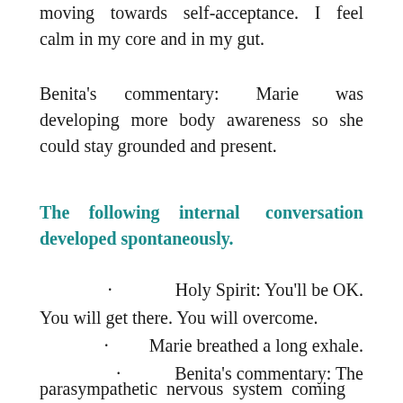moving towards self-acceptance. I feel calm in my core and in my gut.
Benita's commentary: Marie was developing more body awareness so she could stay grounded and present.
The following internal conversation developed spontaneously.
· Holy Spirit: You'll be OK. You will get there. You will overcome.
· Marie breathed a long exhale.
· Benita's commentary: The
parasympathetic nervous system coming